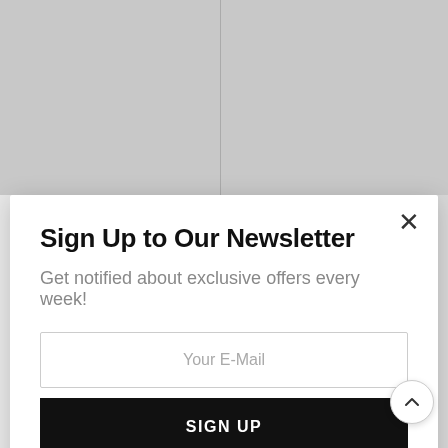[Figure (screenshot): Background webpage showing product listing with gray columns and sidebar]
Sign Up to Our Newsletter
Get notified about exclusive offers every week!
Your E-Mail
SIGN UP
I would like to receive news and special offers.
Brands:
Creality
CR-10 and so on Band Cleaning Needles,3D Printer Nozzle Wrench
$10.99